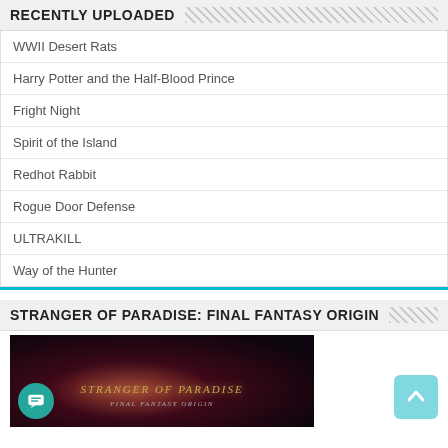RECENTLY UPLOADED
WWII Desert Rats
Harry Potter and the Half-Blood Prince
Fright Night
Spirit of the Island
Redhot Rabbit
Rogue Door Defense
ULTRAKILL
Way of the Hunter
STRANGER OF PARADISE: FINAL FANTASY ORIGIN
[Figure (screenshot): Game screenshot showing Stranger of Paradise: Final Fantasy Origin title screen with dark red/purple atmospheric background and stylized game title text]